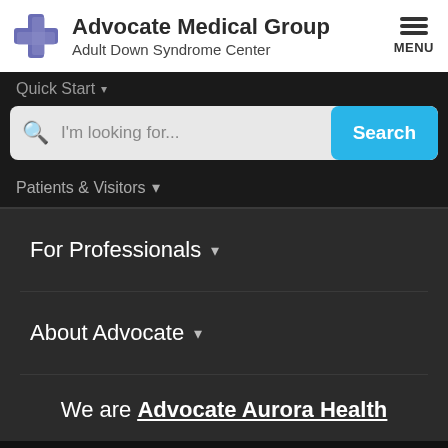Advocate Medical Group Adult Down Syndrome Center
Quick Start
Patients & Visitors
For Professionals
About Advocate
We are Advocate Aurora Health
Privacy Policy   Notice of Nondiscrimination   Disclaimer   Terms of Use